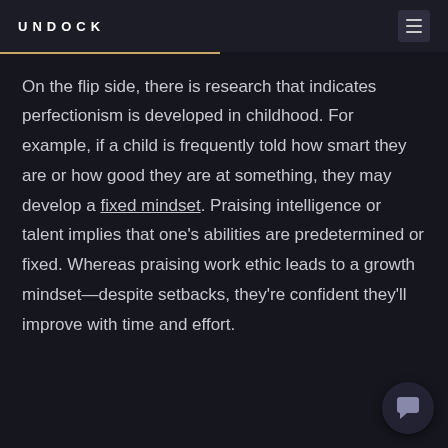UNDOCK
On the flip side, there is research that indicates perfectionism is developed in childhood. For example, if a child is frequently told how smart they are or how good they are at something, they may develop a fixed mindset. Praising intelligence or talent implies that one's abilities are predetermined or fixed. Whereas praising work ethic leads to a growth mindset—despite setbacks, they're confident they'll improve with time and effort.